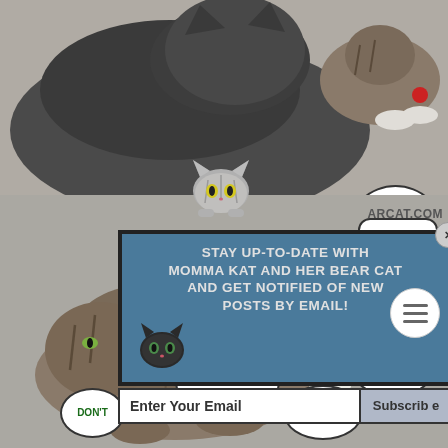[Figure (photo): Two cats on carpet - a large dark grey/black cat in foreground and a tabby cat with a red toy in background, top half of comic strip]
[Figure (illustration): Cartoon cat face icon peering over edge - gray tabby style with yellow-green eyes]
TOUCHY. TOUCHY. SHEESH!
[Figure (infographic): Email subscription popup modal with blue background, cat icon, text: STAY UP-TO-DATE WITH MOMMA KAT AND HER BEAR CAT AND GET NOTIFIED OF NEW POSTS BY EMAIL!, email input field, Subscribe button]
ARCAT.COM
DON'T GET IT.
[Figure (photo): Tabby cat lying on carpet looking at camera, bottom half of comic strip with stuffed panda toy visible]
WHO ARE YOU TALKIN' TO?
ABOUT WHAT?
I NEED TO USE THE LITTLE MAN'S ROOM
DON'T
SHOCKING